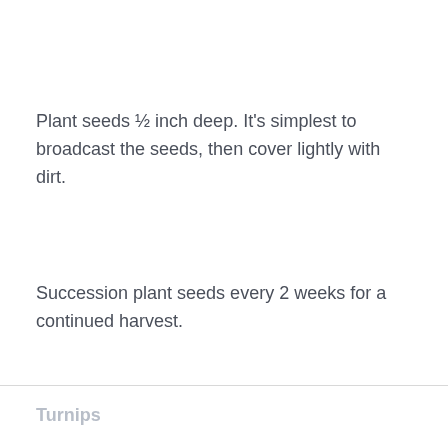Plant seeds ½ inch deep. It's simplest to broadcast the seeds, then cover lightly with dirt.
Succession plant seeds every 2 weeks for a continued harvest.
Turnips